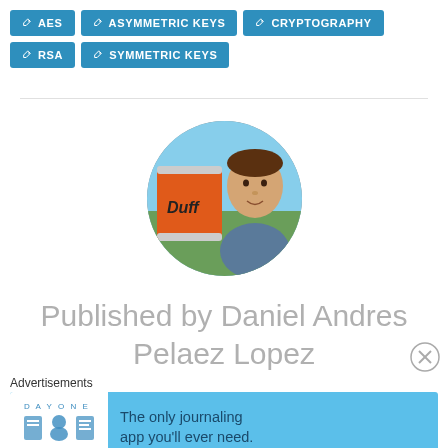AES
ASYMMETRIC KEYS
CRYPTOGRAPHY
RSA
SYMMETRIC KEYS
[Figure (photo): Circular avatar photo of Daniel Andres Pelaez Lopez, a man posing outdoors near an orange Duff beer barrel/container]
Published by Daniel Andres Pelaez Lopez
Advertisements
[Figure (screenshot): Day One app advertisement banner: 'The only journaling app you'll ever need.' with icons of a journal, person, and document on a light blue background]